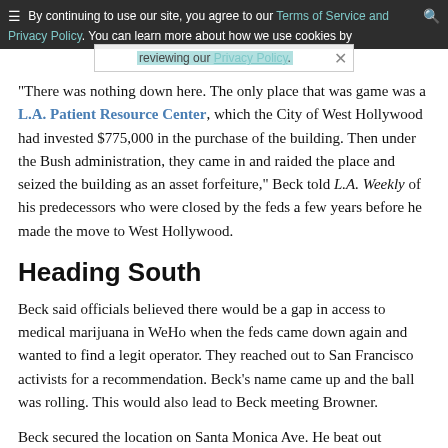By continuing to use our site, you agree to our Terms of Service and Privacy Policy. You can learn more about how we use cookies by reviewing our Privacy Policy.
“There was nothing down here. The only place that was game was a L.A. Patient Resource Center, which the City of West Hollywood had invested $775,000 in the purchase of the building. Then under the Bush administration, they came in and raided the place and seized the building as an asset forfeiture,” Beck told L.A. Weekly of his predecessors who were closed by the feds a few years before he made the move to West Hollywood.
Heading South
Beck said officials believed there would be a gap in access to medical marijuana in WeHo when the feds came down again and wanted to find a legit operator. They reached out to San Francisco activists for a recommendation. Beck’s name came up and the ball was rolling. This would also lead to Beck meeting Browner.
Beck secured the location on Santa Monica Ave. He beat out Browner in the process. She was also eyeballing the location for